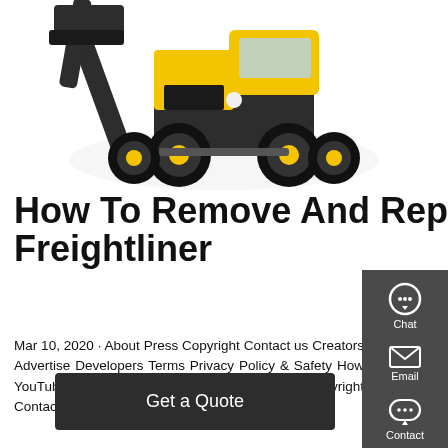[Figure (photo): Yellow and black front-end loader / wheel loader machine photographed from the front-left angle against a white background, showing large tires and raised bucket.]
How To Remove And Replace Air Compressor On Freightliner
Mar 10, 2020 · About Press Copyright Contact us Creators Advertise Developers Terms Privacy Policy & Safety How YouTube works Test new features Press Copyright Contact us Creators
[Figure (other): Dark grey sidebar with Chat (headset icon), Email (envelope icon), and Contact (speech bubble icon) options separated by red dividers.]
Get a Quote